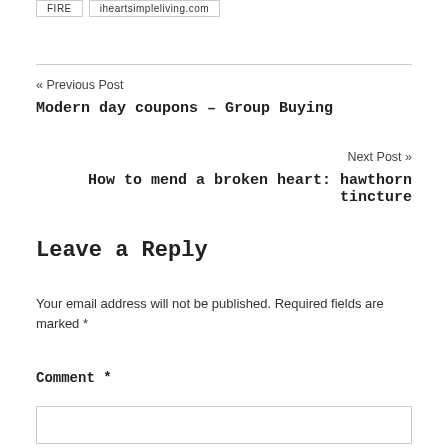FIRE   iheartsimpleliving.com
« Previous Post
Modern day coupons – Group Buying
Next Post »
How to mend a broken heart: hawthorn tincture
Leave a Reply
Your email address will not be published. Required fields are marked *
Comment *